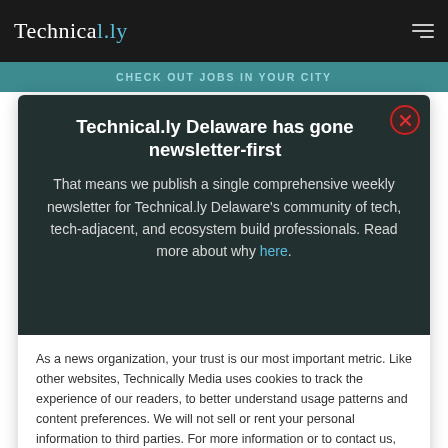Technically
CHECK OUT JOBS IN YOUR CITY
Technical.ly Delaware has gone newsletter-first
That means we publish a single comprehensive weekly newsletter for Technical.ly Delaware's community of tech, tech-adjacent, and ecosystem build professionals. Read more about why here.
As a news organization, your trust is our most important metric. Like other websites, Technically Media uses cookies to track the experience of our readers, to better understand usage patterns and content preferences. We will not sell or rent your personal information to third parties. For more information or to contact us, read our entire Ethics & Privacy Policy.
Close